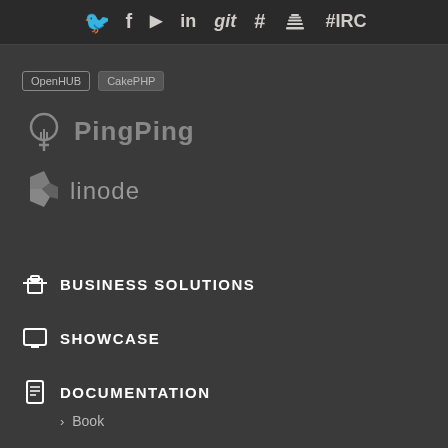[Figure (infographic): Top navigation bar with social/platform icons: Twitter, Facebook, YouTube, LinkedIn, git, hashtag/issue, Stack Overflow, #IRC]
[Figure (logo): OpenHUB and CakePHP badges/tags]
[Figure (logo): PingPing logo with icon and text]
[Figure (logo): Linode logo with icon and text]
BUSINESS SOLUTIONS
SHOWCASE
DOCUMENTATION
Book